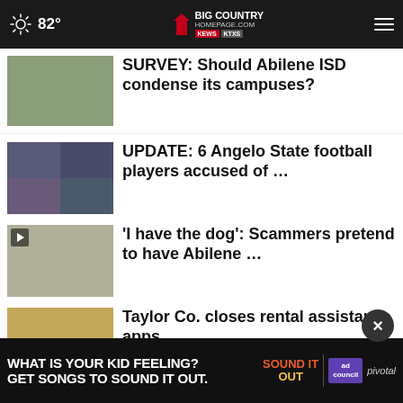82° Big Country Homepage
SURVEY: Should Abilene ISD condense its campuses?
UPDATE: 6 Angelo State football players accused of …
'I have the dog': Scammers pretend to have Abilene …
Taylor Co. closes rental assistance apps
Six Angelo State University football players arrested …
GALLERY: Crosstown Showdown pep
WHAT IS YOUR KID FEELING? GET SONGS TO SOUND IT OUT.